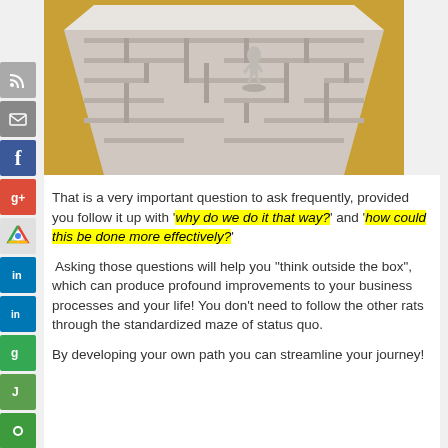[Figure (photo): A 3D maze model made of brown/tan material with a small human figure navigating through it, photographed from above at an angle on a warm yellow-orange background.]
That is a very important question to ask frequently, provided you follow it up with 'why do we do it that way?' and 'how could this be done more effectively?'
Asking those questions will help you "think outside the box", which can produce profound improvements to your business processes and your life! You don't need to follow the other rats through the standardized maze of status quo.
By developing your own path you can streamline your journey!
You may remember the "Year 2000" software problem